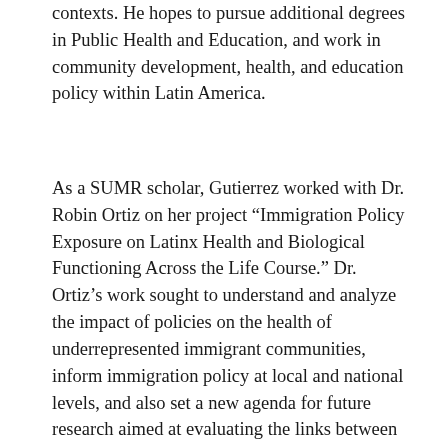contexts. He hopes to pursue additional degrees in Public Health and Education, and work in community development, health, and education policy within Latin America.
As a SUMR scholar, Gutierrez worked with Dr. Robin Ortiz on her project “Immigration Policy Exposure on Latinx Health and Biological Functioning Across the Life Course.” Dr. Ortiz’s work sought to understand and analyze the impact of policies on the health of underrepresented immigrant communities, inform immigration policy at local and national levels, and also set a new agenda for future research aimed at evaluating the links between immigration policy and population health.